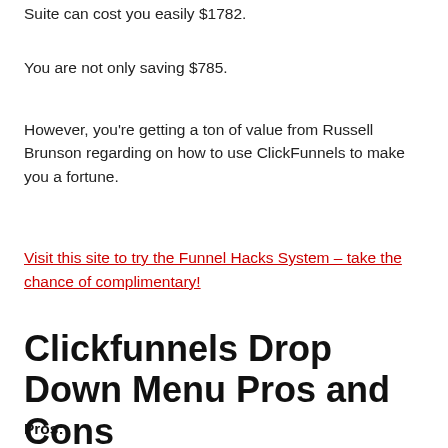Suite can cost you easily $1782.
You are not only saving $785.
However, you're getting a ton of value from Russell Brunson regarding on how to use ClickFunnels to make you a fortune.
Visit this site to try the Funnel Hacks System – take the chance of complimentary!
Clickfunnels Drop Down Menu Pros and Cons
Pros: